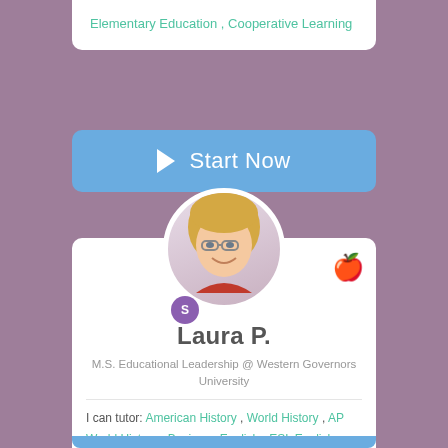Elementary Education , Cooperative Learning
Start Now
[Figure (photo): Profile photo of tutor Laura P., a middle-aged woman with blonde hair and glasses wearing a red top, shown in a circular crop with a purple badge overlay]
Laura P.
M.S. Educational Leadership @ Western Governors University
I can tutor: American History , World History , AP World History , Business English , ESL English as a Second Language , Consumer Economics